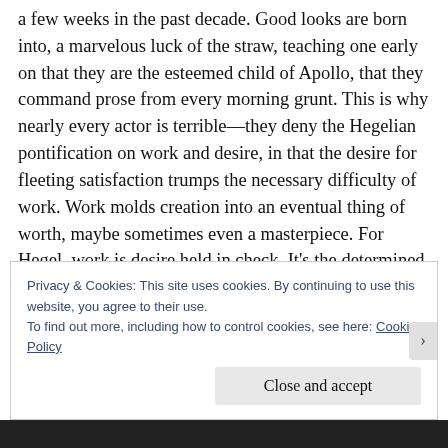a few weeks in the past decade. Good looks are born into, a marvelous luck of the straw, teaching one early on that they are the esteemed child of Apollo, that they command prose from every morning grunt. This is why nearly every actor is terrible—they deny the Hegelian pontification on work and desire, in that the desire for fleeting satisfaction trumps the necessary difficulty of work. Work molds creation into an eventual thing of worth, maybe sometimes even a masterpiece. For Hegel, work is desire held in check. It's the determined passion for the invisible Process. Actors want the show without the several-hundred person team to make a great film. Great tits without a heartbeat. The 10,000 hour
Privacy & Cookies: This site uses cookies. By continuing to use this website, you agree to their use.
To find out more, including how to control cookies, see here: Cookie Policy
Close and accept